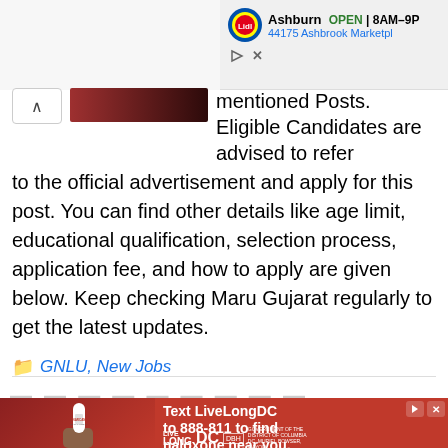[Figure (screenshot): Top advertisement banner showing Lidl store in Ashburn, OPEN 8AM-9PM, address 44175 Ashbrook Marketplace, with Lidl logo]
mentioned Posts. Eligible Candidates are advised to refer to the official advertisement and apply for this post. You can find other details like age limit, educational qualification, selection process, application fee, and how to apply are given below. Keep checking Maru Gujarat regularly to get the latest updates.
GNLU, New Jobs
[Figure (screenshot): Bottom advertisement: Red background ad showing a nasal spray (naloxone). Text reads 'Text LiveLongDC to 888-811 to find naloxone near you.' with LiveLong DC, DBH, and DC government logos]